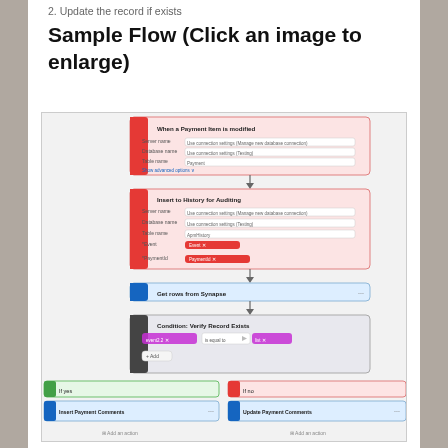2. Update the record if exists
Sample Flow (Click an image to enlarge)
[Figure (flowchart): A multi-step flow diagram showing: 'When a Payment Item is modified' trigger block (red), connected to 'Insert to History for Auditing' block (red), then 'Get rows from Synapse' block (blue), then 'Condition: Verify Record Exists' block (dark/gray) with a condition check. Below splits into two branches: 'If yes' branch (green) containing 'Insert Payment Comments' block, and 'If no' branch (red/pink) containing 'Update Payment Comments' block. Each branch has 'Add an action' link at the bottom.]